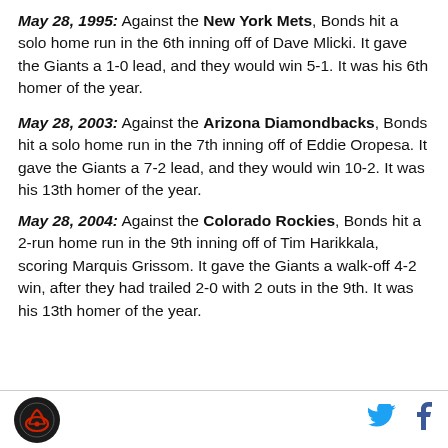May 28, 1995: Against the New York Mets, Bonds hit a solo home run in the 6th inning off of Dave Mlicki. It gave the Giants a 1-0 lead, and they would win 5-1. It was his 6th homer of the year.
May 28, 2003: Against the Arizona Diamondbacks, Bonds hit a solo home run in the 7th inning off of Eddie Oropesa. It gave the Giants a 7-2 lead, and they would win 10-2. It was his 13th homer of the year.
May 28, 2004: Against the Colorado Rockies, Bonds hit a 2-run home run in the 9th inning off of Tim Harikkala, scoring Marquis Grissom. It gave the Giants a walk-off 4-2 win, after they had trailed 2-0 with 2 outs in the 9th. It was his 13th homer of the year.
Logo and social media icons